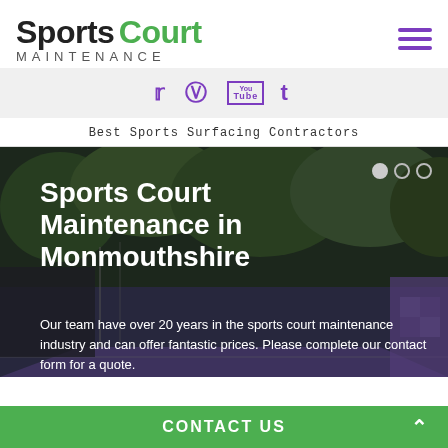Sports Court MAINTENANCE
[Figure (screenshot): Social media icons: Twitter, Pinterest, YouTube, Tumblr in purple]
Best Sports Surfacing Contractors
[Figure (photo): Sports court maintenance hero image with overlay text: Sports Court Maintenance in Monmouthshire. Body: Our team have over 20 years in the sports court maintenance industry and can offer fantastic prices. Please complete our contact form for a quote.]
CONTACT US